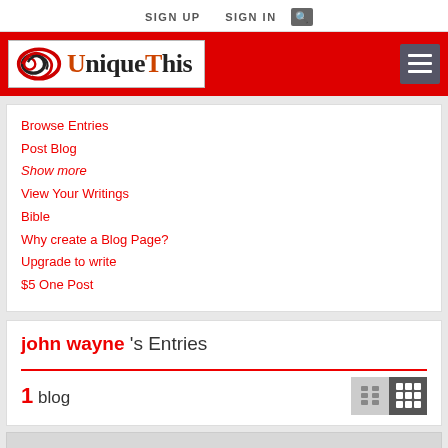SIGN UP  SIGN IN  [search icon]
[Figure (logo): UniqueThis logo with red swirl graphic on white background in red header bar]
Browse Entries
Post Blog
Show more
View Your Writings
Bible
Why create a Blog Page?
Upgrade to write
$5 One Post
john wayne 's Entries
1 blog